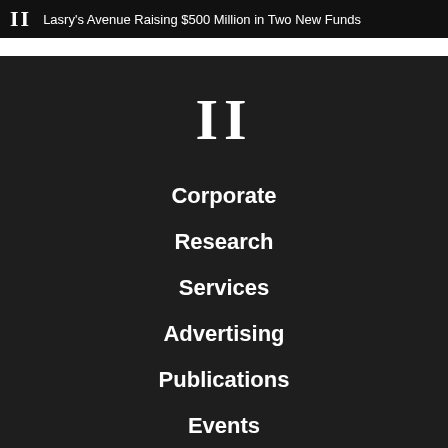II  Lasry's Avenue Raising $500 Million in Two New Funds
II
Corporate
Research
Services
Advertising
Publications
Events